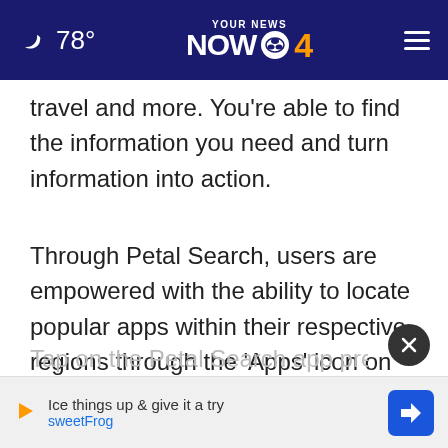78° YOUR NEWS NOW 4
travel and more. You're able to find the information you need and turn information into action.
Through Petal Search, users are empowered with the ability to locate popular apps within their respective regions through the 'Apps' icon on the Petal Search homepage, opening up possibilities for users to find favourite apps for them.
Tap on the Petal Search app preinstalled on
Ice things up & give it a try sweetFrog